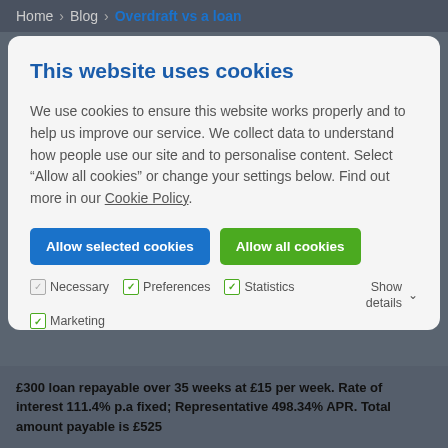Home > Blog > Overdraft vs a loan
This website uses cookies
We use cookies to ensure this website works properly and to help us improve our service. We collect data to understand how people use our site and to personalise content. Select “Allow all cookies” or change your settings below. Find out more in our Cookie Policy.
Allow selected cookies | Allow all cookies
Necessary  Preferences  Statistics  Show details  Marketing
£300 loan repayable over 35 weeks at £15 per week. Rate of interest 111.4% p.a fixed; Representative 498.34% APR. Total amount payable is £525